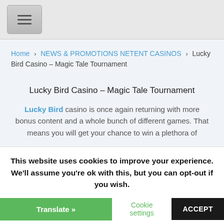[Figure (screenshot): Hamburger menu button (three horizontal lines) in a grey rounded rectangle button]
Home > NEWS & PROMOTIONS NETENT CASINOS > Lucky Bird Casino – Magic Tale Tournament
Lucky Bird Casino – Magic Tale Tournament
Lucky Bird casino is once again returning with more bonus content and a whole bunch of different games. That means you will get your chance to win a plethora of
This website uses cookies to improve your experience. We'll assume you're ok with this, but you can opt-out if you wish.
Cookie settings   ACCEPT   Translate »